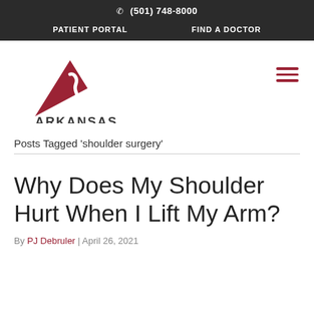(501) 748-8000 | PATIENT PORTAL | FIND A DOCTOR
[Figure (logo): Arkansas Surgical Hospital - Physician Owned logo with red triangle and grey S-curve]
Posts Tagged 'shoulder surgery'
Why Does My Shoulder Hurt When I Lift My Arm?
By PJ Debruler | April 26, 2021